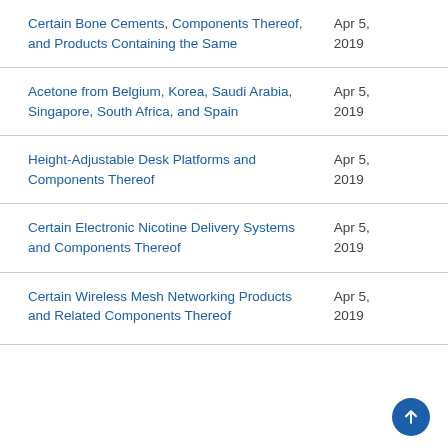Certain Bone Cements, Components Thereof, and Products Containing the Same	Apr 5, 2019
Acetone from Belgium, Korea, Saudi Arabia, Singapore, South Africa, and Spain	Apr 5, 2019
Height-Adjustable Desk Platforms and Components Thereof	Apr 5, 2019
Certain Electronic Nicotine Delivery Systems and Components Thereof	Apr 5, 2019
Certain Wireless Mesh Networking Products and Related Components Thereof	Apr 5, 2019